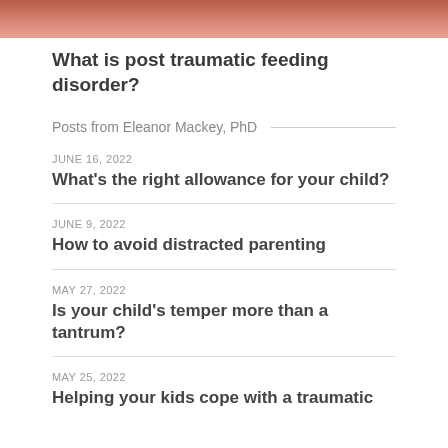[Figure (photo): Partial view of a baby's face, warm pinkish-red tones, cropped at top of page]
What is post traumatic feeding disorder?
Posts from Eleanor Mackey, PhD
JUNE 16, 2022
What's the right allowance for your child?
JUNE 9, 2022
How to avoid distracted parenting
MAY 27, 2022
Is your child's temper more than a tantrum?
MAY 25, 2022
Helping your kids cope with a traumatic